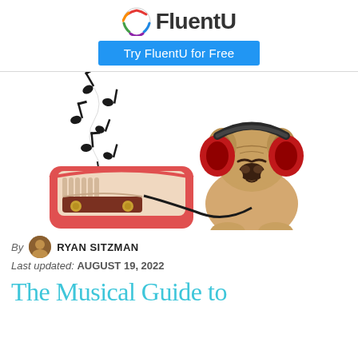FluentU — Try FluentU for Free
[Figure (photo): A French bulldog wearing large red headphones connected by a cord to a vintage red radio, with musical notes floating above the radio, on a white background.]
By RYAN SITZMAN
Last updated: AUGUST 19, 2022
The Musical Guide to